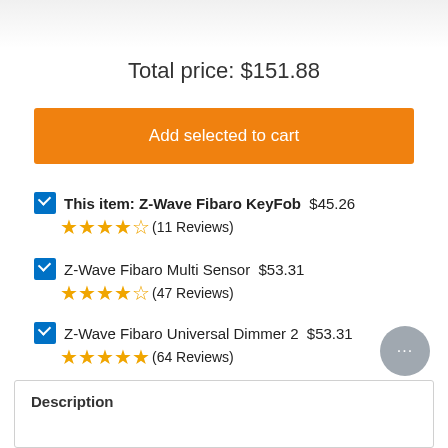[Figure (photo): Product images of Z-Wave Fibaro devices partially visible at top of page]
Total price: $151.88
Add selected to cart
This item: Z-Wave Fibaro KeyFob  $45.26  ★★★★☆ (11 Reviews)
Z-Wave Fibaro Multi Sensor  $53.31  ★★★★☆ (47 Reviews)
Z-Wave Fibaro Universal Dimmer 2  $53.31  ★★★★★ (64 Reviews)
Description